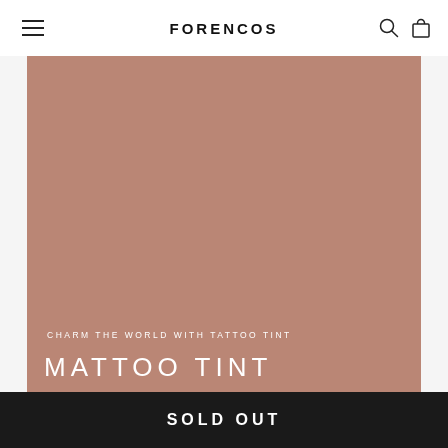FORENCOS
[Figure (illustration): Solid mauve-brown colored rectangle serving as product image background for MATTOO TINT cosmetic product]
CHARM THE WORLD WITH TATTOO TINT
MATTOO TINT
SOLD OUT